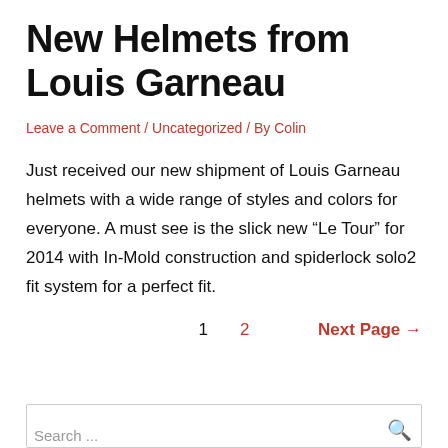New Helmets from Louis Garneau
Leave a Comment / Uncategorized / By Colin
Just received our new shipment of Louis Garneau helmets with a wide range of styles and colors for everyone. A must see is the slick new "Le Tour" for 2014 with In-Mold construction and spiderlock solo2 fit system for a perfect fit.
1  2  Next Page →